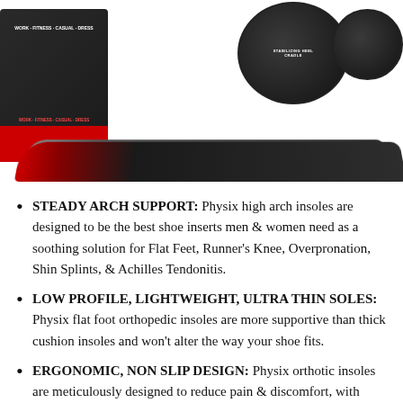[Figure (photo): Product photo showing Physix arch support insoles package with box on left, two circular heel cradle pads top right, and a black/red insole strip across the bottom]
STEADY ARCH SUPPORT: Physix high arch insoles are designed to be the best shoe inserts men & women need as a soothing solution for Flat Feet, Runner's Knee, Overpronation, Shin Splints, & Achilles Tendonitis.
LOW PROFILE, LIGHTWEIGHT, ULTRA THIN SOLES: Physix flat foot orthopedic insoles are more supportive than thick cushion insoles and won't alter the way your shoe fits.
ERGONOMIC, NON SLIP DESIGN: Physix orthotic insoles are meticulously designed to reduce pain & discomfort, with semi-rigid arch support &